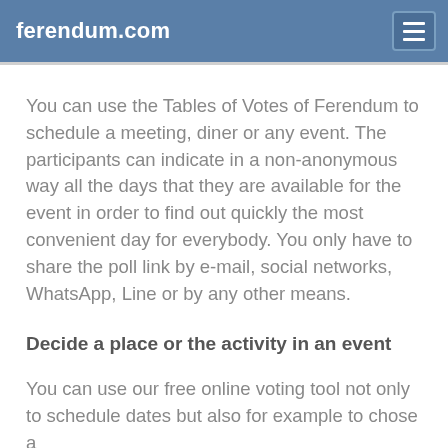ferendum.com
You can use the Tables of Votes of Ferendum to schedule a meeting, diner or any event. The participants can indicate in a non-anonymous way all the days that they are available for the event in order to find out quickly the most convenient day for everybody. You only have to share the poll link by e-mail, social networks, WhatsApp, Line or by any other means.
Decide a place or the activity in an event
You can use our free online voting tool not only to schedule dates but also for example to chose a